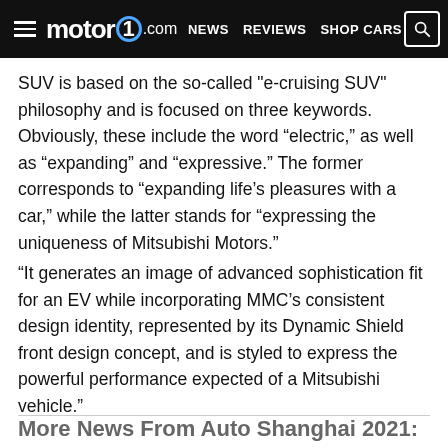motor1.com  NEWS  REVIEWS  SHOP CARS
SUV is based on the so-called "e-cruising SUV" philosophy and is focused on three keywords. Obviously, these include the word “electric,” as well as “expanding” and “expressive.” The former corresponds to “expanding life’s pleasures with a car,” while the latter stands for “expressing the uniqueness of Mitsubishi Motors.”
“It generates an image of advanced sophistication fit for an EV while incorporating MMC’s consistent design identity, represented by its Dynamic Shield front design concept, and is styled to express the powerful performance expected of a Mitsubishi vehicle.”
More News From Auto Shanghai 2021: